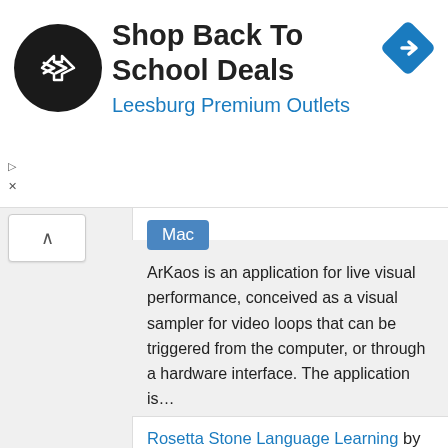[Figure (logo): Black circular logo with double arrow symbol, for an ad banner promoting Shop Back To School Deals at Leesburg Premium Outlets]
Shop Back To School Deals
Leesburg Premium Outlets
[Figure (logo): Blue diamond-shaped navigation/direction icon on right side of ad banner]
Mac
ArKaos is an application for live visual performance, conceived as a visual sampler for video loops that can be triggered from the computer, or through a hardware interface. The application is...
Tags: Live Video Software, Windows Multimedia Software, Macos Multimedia Software
Rosetta Stone Language Learning by Rosetta Stone Inc.
Mac
Windows
Rosetta Stone Language Learning is